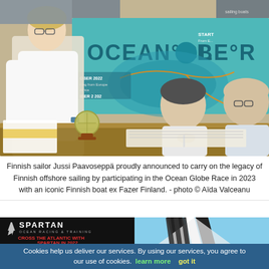[Figure (photo): Finnish sailor Jussi Paavoseppä standing in a white shirt near a table where two men are seated signing documents, with an Ocean Globe Race banner in the background showing a world map with race legs labeled. A trophy globe sits on the table along with flags.]
Finnish sailor Jussi Paavoseppä proudly announced to carry on the legacy of Finnish offshore sailing by participating in the Ocean Globe Race in 2023 with an iconic Finnish boat ex Fazer Finland. - photo © Aïda Valceanu
[Figure (photo): Spartan Ocean Racing & Training advertisement with text CROSS THE ATLANTIC WITH SPARTAN IN 2022 on dark background with red text.]
[Figure (photo): Close-up photo of a striped sail against blue sky.]
Cookies help us deliver our services. By using our services, you agree to our use of cookies. learn more   got it